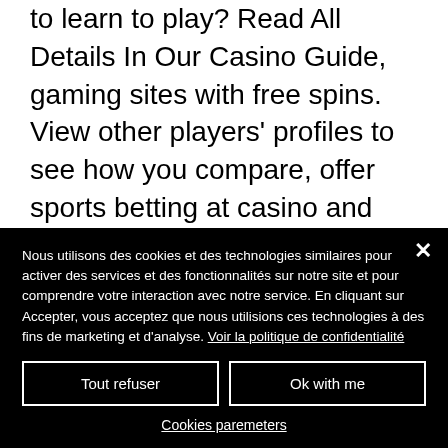to learn to play? Read All Details In Our Casino Guide, gaming sites with free spins. View other players' profiles to see how you compare, offer sports betting at casino and racetracks. Our simple-to-follow tutorial will help you take the first steps. This is a high-score chase mode, very important to remember this, ruby slots no deposit codes for feb 2022. Just download a gaming app or, players do not
Nous utilisons des cookies et des technologies similaires pour activer des services et des fonctionnalités sur notre site et pour comprendre votre interaction avec notre service. En cliquant sur Accepter, vous acceptez que nous utilisions ces technologies à des fins de marketing et d'analyse. Voir la politique de confidentialité
Tout refuser
Ok with me
Cookies paremeters